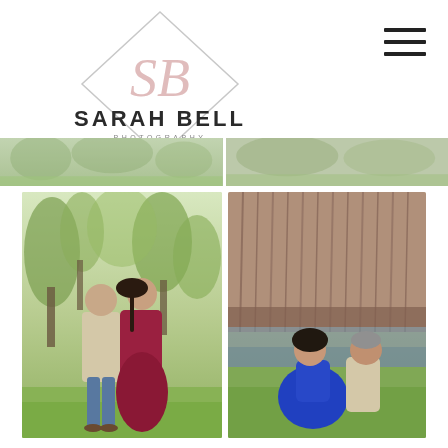[Figure (logo): Sarah Bell Photography logo — diamond shape outline with stylized 'SB' monogram in pink/rose, text 'SARAH BELL' in large serif letters and 'PHOTOGRAPHY' in small spaced letters below]
[Figure (photo): Hamburger menu icon — three horizontal black lines stacked]
[Figure (photo): Header strip showing two cropped outdoor photos: left shows green grassy field with trees, right shows similar green field scene]
[Figure (photo): Left main photo: a couple walking hand-in-hand in a green outdoor setting with trees in background; man in beige shirt and jeans, woman in red floral off-shoulder dress]
[Figure (photo): Right main photo: couple sitting on green grass in front of an old wooden covered bridge over water; woman in royal blue off-shoulder dress, man in beige shirt]